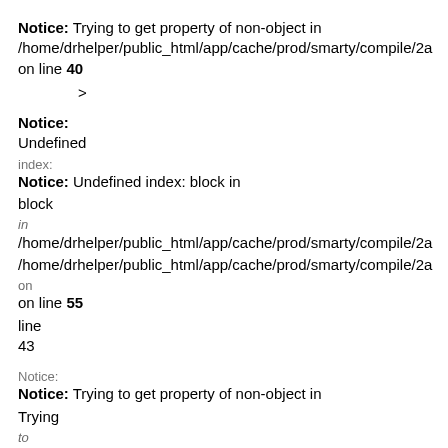Notice: Trying to get property of non-object in /home/drhelper/public_html/app/cache/prod/smarty/compile/2a on line 40
>
Notice: Undefined index: block in /home/drhelper/public_html/app/cache/prod/smarty/compile/2a /home/drhelper/public_html/app/cache/prod/smarty/compile/2a on line 55 line 43
Notice: Trying to get property of non-object in /home/drhelper/public_html/app/cache/prod/smarty/compile/2a on line 55